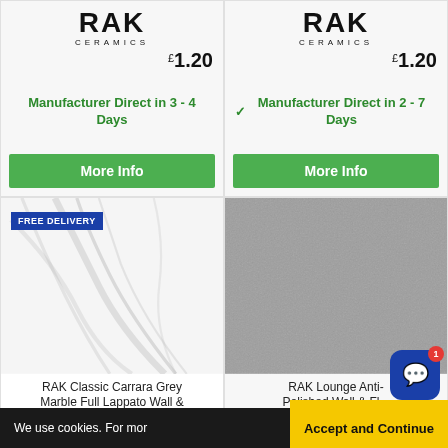[Figure (logo): RAK Ceramics logo, top-left card]
£1.20
Manufacturer Direct in 3 - 4 Days
More Info
[Figure (logo): RAK Ceramics logo, top-right card]
£1.20
✓ Manufacturer Direct in 2 - 7 Days
More Info
FREE DELIVERY
[Figure (photo): RAK Classic Carrara Grey Marble Full Lappato Wall & Floor tile image (white marble with grey veining)]
RAK Classic Carrara Grey Marble Full Lappato Wall &
[Figure (photo): RAK Lounge Anti-Polished Wall & Floor tile image (grey textured surface)]
RAK Lounge Anti-Polished Wall & Fl...
We use cookies. For mor
Accept and Continue